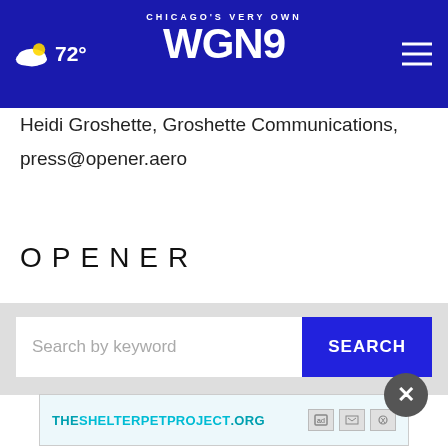Chicago's Very Own WGN9 — 72°
Heidi Groshette, Groshette Communications, press@opener.aero
[Figure (logo): OPENER logo in uppercase letters with wide letter-spacing]
[Figure (screenshot): Search bar with 'Search by keyword' placeholder and blue SEARCH button, with X close button]
[Figure (infographic): Advertisement banner: THESHELTERPETPROJECT.ORG with ad choice icons]